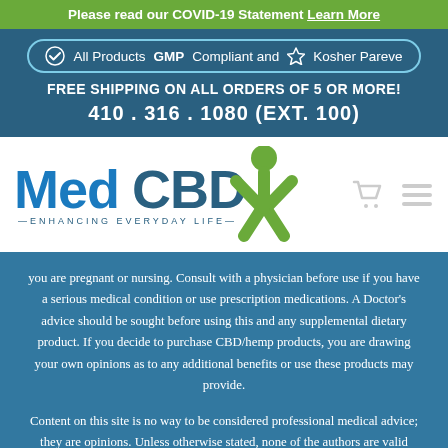Please read our COVID-19 Statement Learn More
All Products GMP Compliant and ☆ Kosher Pareve
FREE SHIPPING ON ALL ORDERS OF 5 OR MORE!
410 . 316 . 1080 (EXT. 100)
[Figure (logo): MedCBD logo with green person figure and tagline ENHANCING EVERYDAY LIFE]
you are pregnant or nursing. Consult with a physician before use if you have a serious medical condition or use prescription medications. A Doctor's advice should be sought before using this and any supplemental dietary product. If you decide to purchase CBD/hemp products, you are drawing your own opinions as to any additional benefits or use these products may provide.
Content on this site is no way to be considered professional medical advice; they are opinions. Unless otherwise stated, none of the authors are valid medical professionals. This site is for educational purposes only. We encourage you to use and discuss the information and links on this site with your medical advisors and physicians.